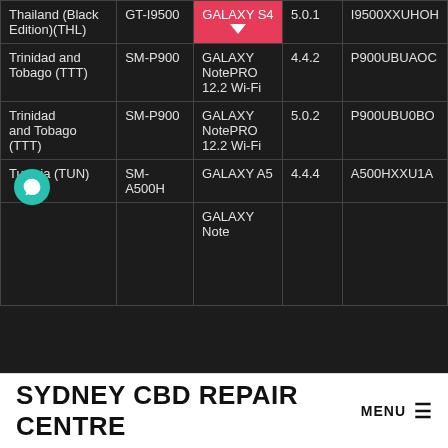| Country | Model | Device | OS | Firmware |
| --- | --- | --- | --- | --- |
| Thailand (Black Edition)(THL) | GT-I9500 | GALAXY S4 | 5.0.1 | I9500XXUHOH |
| Trinidad and Tobago (TTT) | SM-P900 | GALAXY NotePRO 12.2 Wi-Fi | 4.4.2 | P900UBUAOC |
| Trinidad and Tobago (TTT) | SM-P900 | GALAXY NotePRO 12.2 Wi-Fi | 5.0.2 | P900UBU0BO |
| Tunisia (TUN) | SM-A500H | GALAXY A5 | 4.4.4 | A500HXXU1A |
|  |  | GALAXY Note |  |  |
SYDNEY CBD REPAIR CENTRE MENU ≡